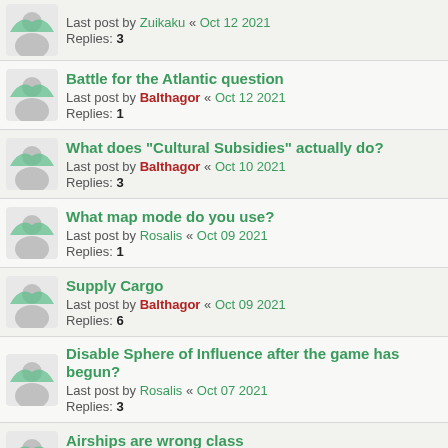Last post by Zuikaku « Oct 12 2021
Replies: 3
Battle for the Atlantic question
Last post by Balthagor « Oct 12 2021
Replies: 1
What does "Cultural Subsidies" actually do?
Last post by Balthagor « Oct 10 2021
Replies: 3
What map mode do you use?
Last post by Rosalis « Oct 09 2021
Replies: 1
Supply Cargo
Last post by Balthagor « Oct 09 2021
Replies: 6
Disable Sphere of Influence after the game has begun?
Last post by Rosalis « Oct 07 2021
Replies: 3
Airships are wrong class
Last post by Balthagor « Oct 06 2021
Replies: 7
Sales, unemployment, property and pension tax: What do...